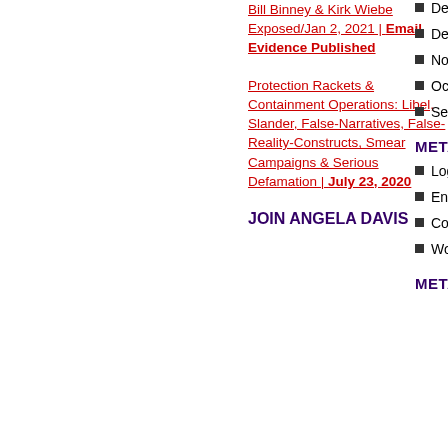Bill Binney & Kirk Wiebe Exposed/Jan 2, 2021 | Email Evidence Published
Protection Rackets & Containment Operations: Libel, Slander, False-Narratives, False-Reality-Constructs, Smear Campaigns & Serious Defamation | July 23, 2020
JOIN ANGELA DAVIS
December 2015
December 2014
November 2014
October 2014
September 2014
META
Log in
Entries feed
Comments feed
WordPress
META